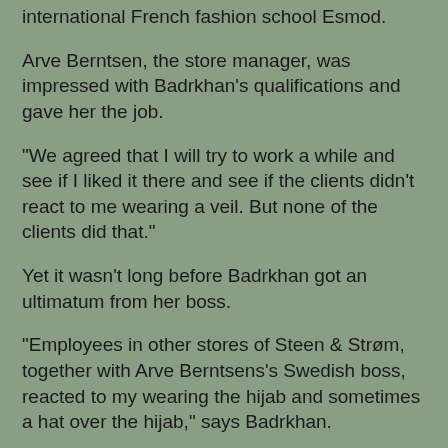international French fashion school Esmod.
Arve Berntsen, the store manager, was impressed with Badrkhan's qualifications and gave her the job.
"We agreed that I will try to work a while and see if I liked it there and see if the clients didn't react to me wearing a veil. But none of the clients did that."
Yet it wasn't long before Badrkhan got an ultimatum from her boss.
"Employees in other stores of Steen & Strøm, together with Arve Berntsens's Swedish boss, reacted to my wearing the hijab and sometimes a hat over the hijab," says Badrkhan.
Berntsen confirms that.  He says he has nothing against the hijab.  If he had, he wouldn't have employed Badrkhan.  But he got reactions from employees and from his boss in Sweden.  They thoughts it was too much to use a head covering indoors.  That she put on caps and hats was ok by him, but he couldn't deal with the daily reactions from those